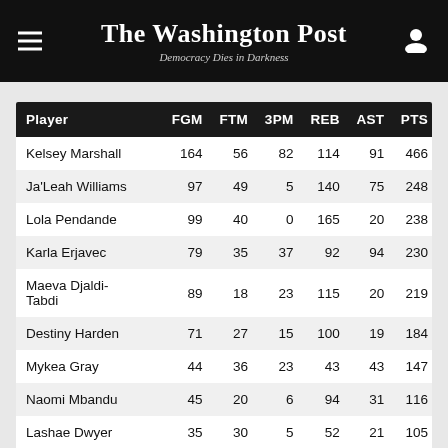The Washington Post — Democracy Dies in Darkness
| Player | FGM | FTM | 3PM | REB | AST | PTS |
| --- | --- | --- | --- | --- | --- | --- |
| Kelsey Marshall | 164 | 56 | 82 | 114 | 91 | 466 |
| Ja'Leah Williams | 97 | 49 | 5 | 140 | 75 | 248 |
| Lola Pendande | 99 | 40 | 0 | 165 | 20 | 238 |
| Karla Erjavec | 79 | 35 | 37 | 92 | 94 | 230 |
| Maeva Djaldi-Tabdi | 89 | 18 | 23 | 115 | 20 | 219 |
| Destiny Harden | 71 | 27 | 15 | 100 | 19 | 184 |
| Mykea Gray | 44 | 36 | 23 | 43 | 43 | 147 |
| Naomi Mbandu | 45 | 20 | 6 | 94 | 31 | 116 |
| Lashae Dwyer | 35 | 30 | 5 | 52 | 21 | 105 |